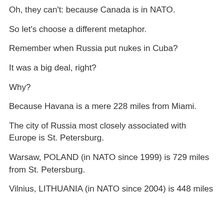Oh, they can't: because Canada is in NATO.
So let's choose a different metaphor.
Remember when Russia put nukes in Cuba?
It was a big deal, right?
Why?
Because Havana is a mere 228 miles from Miami.
The city of Russia most closely associated with Europe is St. Petersburg.
Warsaw, POLAND (in NATO since 1999) is 729 miles from St. Petersburg.
Vilnius, LITHUANIA (in NATO since 2004) is 448 miles